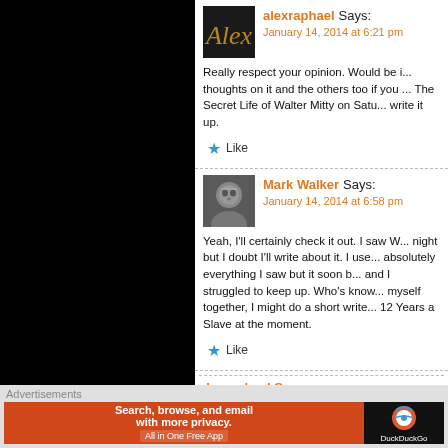alexraphael Says:
January 14, 2014 at 6:21 pm
Really respect your opinion. Would be interested in your thoughts on it and the others too if you saw them. I saw The Secret Life of Walter Mitty on Saturday so I'll write it up.
Like
Mark Walker Says:
January 14, 2014 at 6:58 pm
Yeah, I'll certainly check it out. I saw W... night but I doubt I'll write about it. I use... absolutely everything I saw but it soon b... and I struggled to keep up. Who's know... myself together, I might do a short write... 12 Years a Slave at the moment.
Like
alexraphael Says:
Advertisements
Search, browse, and email with more privacy. All in One Free App
DuckDuckGo